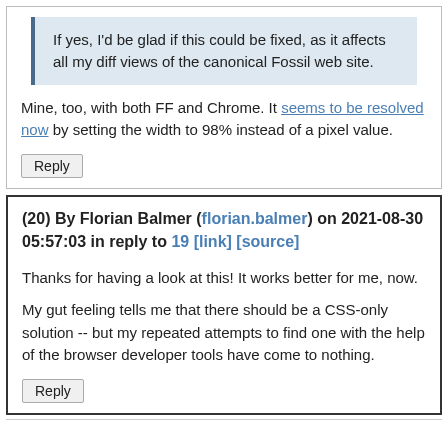If yes, I'd be glad if this could be fixed, as it affects all my diff views of the canonical Fossil web site.
Mine, too, with both FF and Chrome. It seems to be resolved now by setting the width to 98% instead of a pixel value.
Reply
(20) By Florian Balmer (florian.balmer) on 2021-08-30 05:57:03 in reply to 19 [link] [source]
Thanks for having a look at this! It works better for me, now.
My gut feeling tells me that there should be a CSS-only solution -- but my repeated attempts to find one with the help of the browser developer tools have come to nothing.
Reply